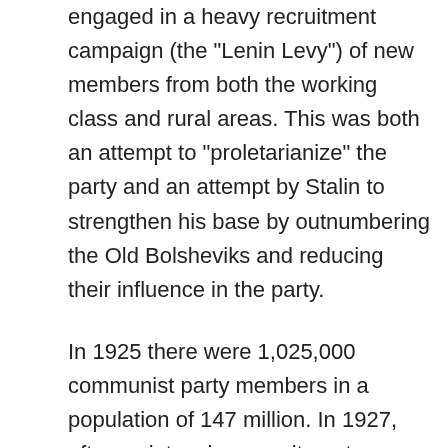engaged in a heavy recruitment campaign (the "Lenin Levy") of new members from both the working class and rural areas. This was both an attempt to "proletarianize" the party and an attempt by Stalin to strengthen his base by outnumbering the Old Bolsheviks and reducing their influence in the party.
In 1925 there were 1,025,000 communist party members in a population of 147 million. In 1927, after an intensive recruitment campaign, membership rose to 1,200,000
By 1933, the party had approximately 3.5 million members but as a result of the Great Purge party membership was cut down to 1.9 million by 1939. In 1986, the Communist Party of the Soviet Union had